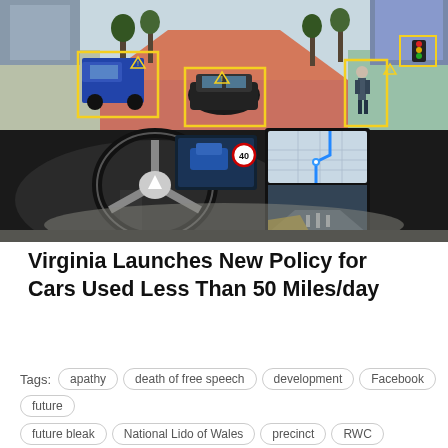[Figure (photo): Autonomous vehicle interior view showing a steering wheel and dual screen display. The windshield view shows a city street with yellow bounding boxes highlighting detected objects (vehicles, pedestrians, signs). The center console shows a navigation map and rear camera view.]
Virginia Launches New Policy for Cars Used Less Than 50 Miles/day
Tags: apathy   death of free speech   development   Facebook   future   future bleak   National Lido of Wales   precinct   RWC